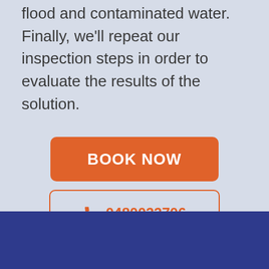flood and contaminated water. Finally, we'll repeat our inspection steps in order to evaluate the results of the solution.
BOOK NOW
0480022706